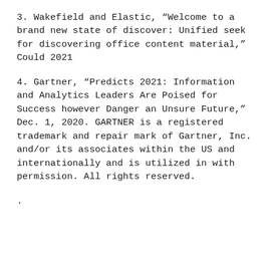3. Wakefield and Elastic, “Welcome to a brand new state of discover: Unified seek for discovering office content material,” Could 2021
4. Gartner, “Predicts 2021: Information and Analytics Leaders Are Poised for Success however Danger an Unsure Future,” Dec. 1, 2020. GARTNER is a registered trademark and repair mark of Gartner, Inc. and/or its associates within the US and internationally and is utilized in with permission. All rights reserved.
.